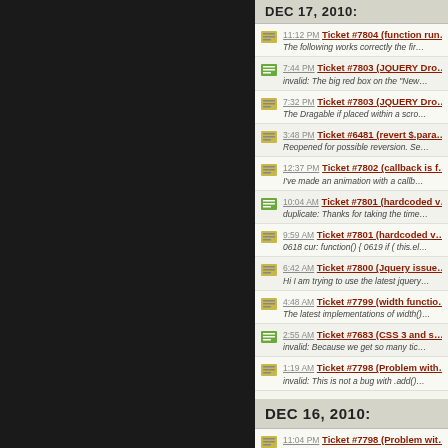DEC 17, 2010:
11:12 PM Ticket #7804 (function run... The following works correctly the fir...
7:44 PM Ticket #7803 (JQUERY Dro... invalid: The big red box on the "New...
7:32 PM Ticket #7803 (JQUERY Dro... The Dragable if placed within a scro...
3:48 PM Ticket #6481 (revert $.para... Reopened for possible reversion. Se...
12:37 PM Ticket #7802 (callback is f... I've made an animation with a callb...
10:04 AM Ticket #7801 (hardcoded v... duplicate: Thanks for taking the time...
9:59 AM Ticket #7801 (hardcoded v... 0618 cur: function() { 0619 if ( this.el...
6:42 AM Ticket #7800 (Jquery issue... Hi I am trying to use the latest jquery...
4:48 AM Ticket #7799 (width functio... The latest implementations of width()...
2:55 AM Ticket #7683 (CSS 3 and s... invalid: Because we get so many tic...
1:19 AM Ticket #7798 (Problem with... invalid: This is not a bug with .add()....
DEC 16, 2010:
11:04 PM Ticket #7798 (Problem wit...